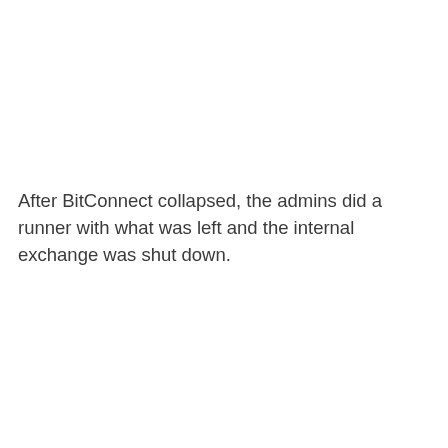After BitConnect collapsed, the admins did a runner with what was left and the internal exchange was shut down.